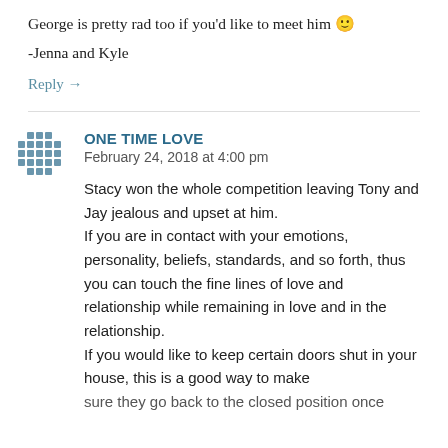George is pretty rad too if you'd like to meet him 🙂
-Jenna and Kyle
Reply →
ONE TIME LOVE
February 24, 2018 at 4:00 pm
Stacy won the whole competition leaving Tony and Jay jealous and upset at him. If you are in contact with your emotions, personality, beliefs, standards, and so forth, thus you can touch the fine lines of love and relationship while remaining in love and in the relationship. If you would like to keep certain doors shut in your house, this is a good way to make sure they go back to the closed position once